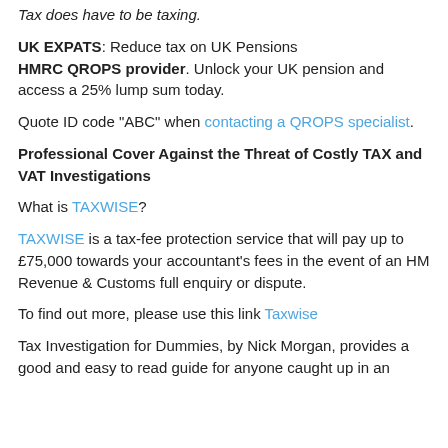Tax does have to be taxing.
UK EXPATS: Reduce tax on UK Pensions HMRC QROPS provider. Unlock your UK pension and access a 25% lump sum today.
Quote ID code "ABC" when contacting a QROPS specialist.
Professional Cover Against the Threat of Costly TAX and VAT Investigations
What is TAXWISE?
TAXWISE is a tax-fee protection service that will pay up to £75,000 towards your accountant's fees in the event of an HM Revenue & Customs full enquiry or dispute.
To find out more, please use this link Taxwise
Tax Investigation for Dummies, by Nick Morgan, provides a good and easy to read guide for anyone caught up in an